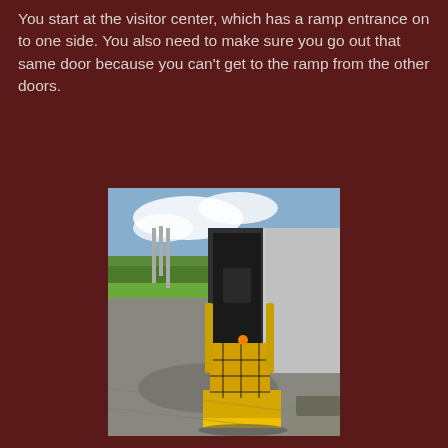You start at the visitor center, which has a ramp entrance on to one side. You also need to make sure you go out that same door because you can't get to the ramp from the other doors.
[Figure (photo): A wheelchair lift deployed from the rear of a white van/bus, with yellow and black platform extended down to pavement level. A green grassy area and trees are visible in the background under a partly cloudy sky.]